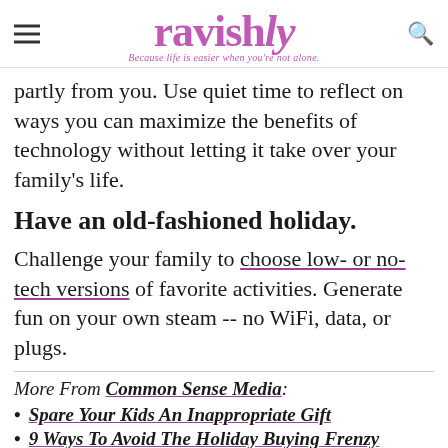ravishly — Because life is easier when you're not alone.
partly from you. Use quiet time to reflect on ways you can maximize the benefits of technology without letting it take over your family's life.
Have an old-fashioned holiday.
Challenge your family to choose low- or no-tech versions of favorite activities. Generate fun on your own steam -- no WiFi, data, or plugs.
More From Common Sense Media:
Spare Your Kids An Inappropriate Gift
9 Ways To Avoid The Holiday Buying Frenzy
5 Tips To Make Family Movie Night A S...